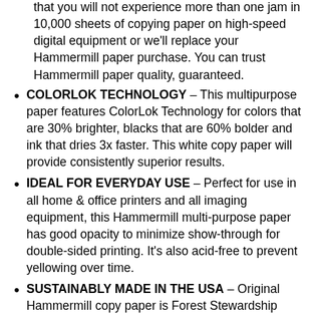JAM-FREE GUARANTEE – We guarantee that you will not experience more than one jam in 10,000 sheets of copying paper on high-speed digital equipment or we'll replace your Hammermill paper purchase. You can trust Hammermill paper quality, guaranteed.
COLORLOK TECHNOLOGY – This multipurpose paper features ColorLok Technology for colors that are 30% brighter, blacks that are 60% bolder and ink that dries 3x faster. This white copy paper will provide consistently superior results.
IDEAL FOR EVERYDAY USE – Perfect for use in all home & office printers and all imaging equipment, this Hammermill multi-purpose paper has good opacity to minimize show-through for double-sided printing. It's also acid-free to prevent yellowing over time.
SUSTAINABLY MADE IN THE USA – Original Hammermill copy paper is Forest Stewardship Council (FSC) certified. Hammermill is committed to...